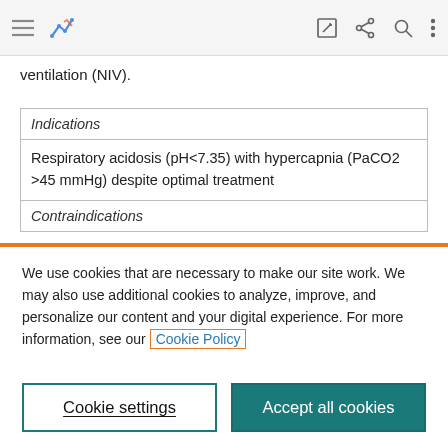[Figure (screenshot): Navigation toolbar with hamburger menu, blue chart icon, edit icon, share icon, search icon, and more options icon on a light grey background]
ventilation (NIV).
| Indications |
| Respiratory acidosis (pH<7.35) with hypercapnia (PaCO2 >45 mmHg) despite optimal treatment |
| Contraindications |
We use cookies that are necessary to make our site work. We may also use additional cookies to analyze, improve, and personalize our content and your digital experience. For more information, see our Cookie Policy
Cookie settings
Accept all cookies